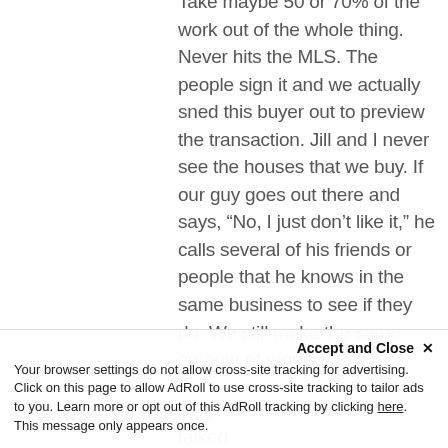Take maybe 50 or 70% of the work out of the whole thing. Never hits the MLS. The people sign it and we actually sned this buyer out to preview the transaction. Jill and I never see the houses that we buy. If our guy goes out there and says, “No, I just don’t like it,” he calls several of his friends or people that he knows in the same business to see if they do. We still make the same amount of money.
On previous shows, we’ve talked
Accept and Close ×
Your browser settings do not allow cross-site tracking for advertising. Click on this page to allow AdRoll to use cross-site tracking to tailor ads to you. Learn more or opt out of this AdRoll tracking by clicking here. This message only appears once.